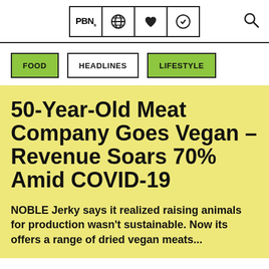PBN [logo with globe, heart, vegan icons] [search icon]
FOOD
HEADLINES
LIFESTYLE
50-Year-Old Meat Company Goes Vegan – Revenue Soars 70% Amid COVID-19
NOBLE Jerky says it realized raising animals for production wasn't sustainable. Now its offers a range of dried vegan meats...